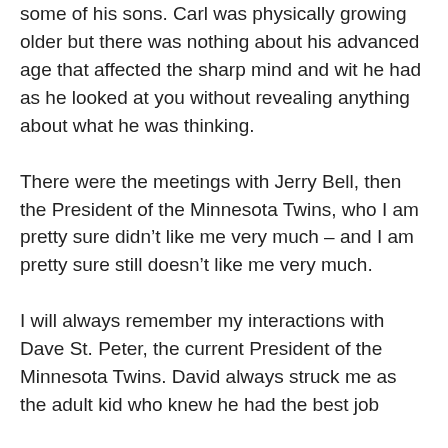some of his sons. Carl was physically growing older but there was nothing about his advanced age that affected the sharp mind and wit he had as he looked at you without revealing anything about what he was thinking.
There were the meetings with Jerry Bell, then the President of the Minnesota Twins, who I am pretty sure didn't like me very much – and I am pretty sure still doesn't like me very much.
I will always remember my interactions with Dave St. Peter, the current President of the Minnesota Twins. David always struck me as the adult kid who knew he had the best job